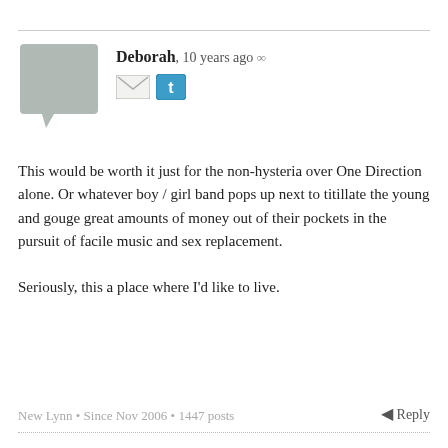Deborah, 10 years ago ∞
This would be worth it just for the non-hysteria over One Direction alone. Or whatever boy / girl band pops up next to titillate the young and gouge great amounts of money out of their pockets in the pursuit of facile music and sex replacement.

Seriously, this a place where I'd like to live.
New Lynn • Since Nov 2006 • 1447 posts
Reply
nzlemming, 10 years ago ∞
Ditto.
Waikanae • Since Nov 2006 • 2937 posts
Reply